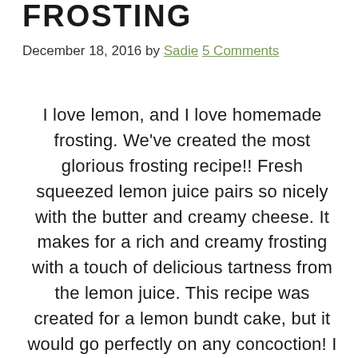FROSTING
December 18, 2016 by Sadie 5 Comments
I love lemon, and I love homemade frosting. We've created the most glorious frosting recipe!! Fresh squeezed lemon juice pairs so nicely with the butter and creamy cheese. It makes for a rich and creamy frosting with a touch of delicious tartness from the lemon juice. This recipe was created for a lemon bundt cake, but it would go perfectly on any concoction! I see a long, beautiful relationship with this